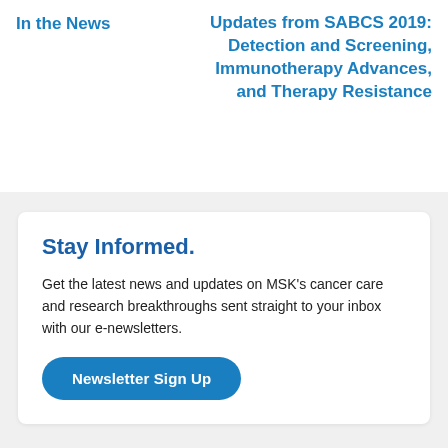In the News
Updates from SABCS 2019: Detection and Screening, Immunotherapy Advances, and Therapy Resistance
Stay Informed.
Get the latest news and updates on MSK's cancer care and research breakthroughs sent straight to your inbox with our e-newsletters.
Newsletter Sign Up